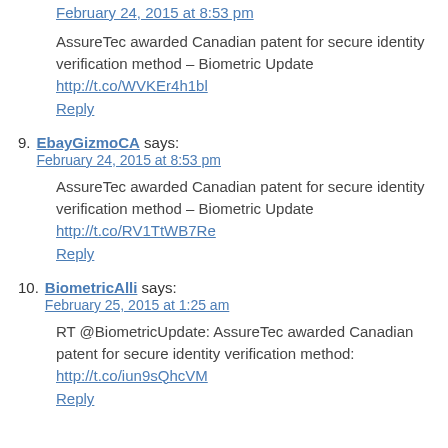February 24, 2015 at 8:53 pm
AssureTec awarded Canadian patent for secure identity verification method – Biometric Update
http://t.co/WVKEr4h1bl
Reply
9. EbayGizmoCA says:
February 24, 2015 at 8:53 pm
AssureTec awarded Canadian patent for secure identity verification method – Biometric Update
http://t.co/RV1TtWB7Re
Reply
10. BiometricAlli says:
February 25, 2015 at 1:25 am
RT @BiometricUpdate: AssureTec awarded Canadian patent for secure identity verification method:
http://t.co/iun9sQhcVM
Reply